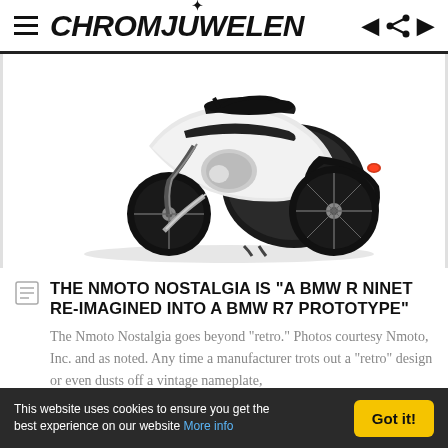CHROMJUWELEN
[Figure (photo): Rear three-quarter view of a custom BMW motorcycle (Nmoto Nostalgia) with white/silver bodywork and black accents, styled as a BMW R7 prototype, shot on white background]
THE NMOTO NOSTALGIA IS "A BMW R NINET RE-IMAGINED INTO A BMW R7 PROTOTYPE"
The Nmoto Nostalgia goes beyond “retro.” Photos courtesy Nmoto, Inc. and as noted. Any time a manufacturer trots out a “retro” design or even dusts off a vintage nameplate,
This website uses cookies to ensure you get the best experience on our website More info